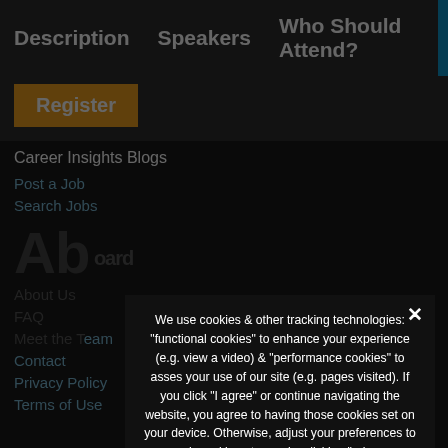Description   Speakers   Who Should Attend?
Register
Career Insights Blogs
Post a Job
Search Jobs
Ab oard
About Us
FAQ
Meet the Team
Contact
Privacy Policy
Terms of Use
We use cookies & other tracking technologies: "functional cookies" to enhance your experience (e.g. view a video) & "performance cookies" to asses your use of our site (e.g. pages visited). If you click "I agree" or continue navigating the website, you agree to having those cookies set on your device. Otherwise, adjust your preferences to each cookie category by clicking "privacy preferences".
› Privacy Preferences
I Agree